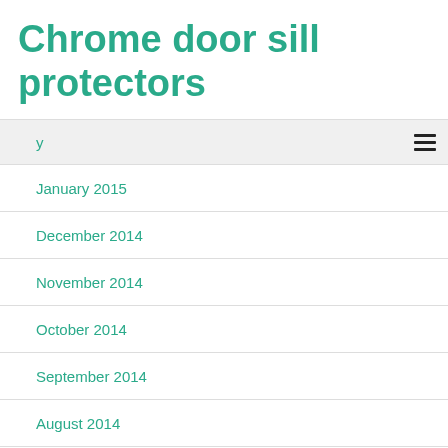Chrome door sill protectors
January 2015
December 2014
November 2014
October 2014
September 2014
August 2014
July 2014
June 2014
May 2014